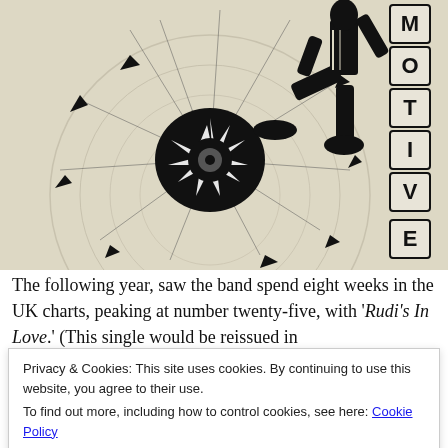[Figure (illustration): Black and white illustration on aged cream/beige paper showing a person in a suit kicking a spinning wheel or broken disc. Vertical text on right side reads 'MOTIVE' in block letter tiles.]
The following year, saw the band spend eight weeks in the UK charts, peaking at number twenty-five, with 'Rudi's In Love.' (This single would be reissued in
Privacy & Cookies: This site uses cookies. By continuing to use this website, you agree to their use.
To find out more, including how to control cookies, see here: Cookie Policy
Close and accept